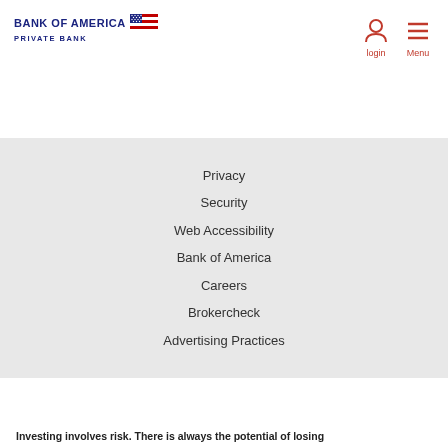[Figure (logo): Bank of America Private Bank logo with flag icon]
[Figure (infographic): Login icon (person silhouette) and Menu icon (hamburger lines) in red]
Privacy
Security
Web Accessibility
Bank of America
Careers
Brokercheck
Advertising Practices
Investing involves risk. There is always the potential of losing